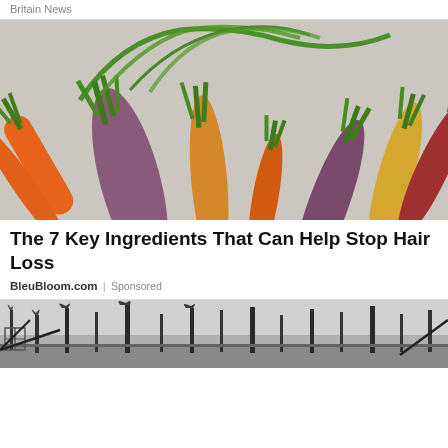Britain News
[Figure (photo): Colorful assorted carrots (orange, purple, yellow) with green tops arranged on a light surface]
The 7 Key Ingredients That Can Help Stop Hair Loss
BleuBloom.com | Sponsored
[Figure (photo): Black and white photo of a park with bare trees in winter]